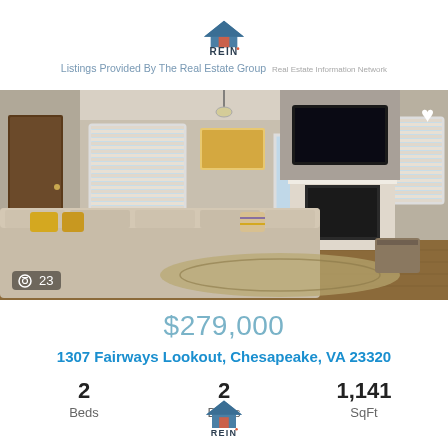Listings Provided By The Real Estate Group  REIN Real Estate Information Network
[Figure (photo): Interior photo of a living room with beige sofas, a fireplace, wall-mounted TV, hardwood floors, and multiple windows. Shows photo count badge '23' in the lower left.]
$279,000
1307 Fairways Lookout, Chesapeake, VA 23320
2 Beds   2 Baths   1,141 SqFt
[Figure (logo): REIN Real Estate Information Network logo at bottom center]